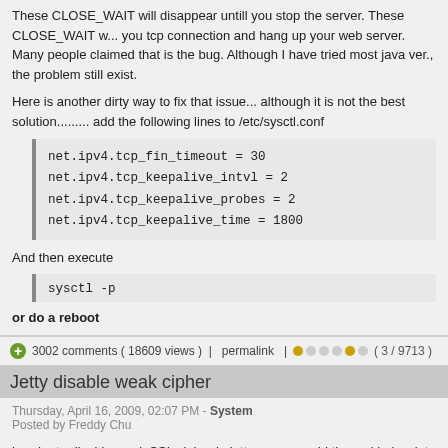These CLOSE_WAIT will disappear untill you stop the server. These CLOSE_WAIT will hang up you tcp connection and hang up your web server. Many people claimed that is the bug. Although I have tried most java ver., the problem still exist.
Here is another dirty way to fix that issue... although it is not the best solution......... add the following lines to /etc/sysctl.conf
net.ipv4.tcp_fin_timeout = 30
net.ipv4.tcp_keepalive_intvl = 2
net.ipv4.tcp_keepalive_probes = 2
net.ipv4.tcp_keepalive_time = 1800
And then execute
sysctl -p
or do a reboot
3002 comments ( 18609 views )  |  permalink  |  ( 3 / 9713 )
Jetty disable weak cipher
Thursday, April 16, 2009, 02:07 PM - System
Posted by Freddy Chu
inorder to disable weak SSL cipher in jetty you can add the xml below into SslSocketC